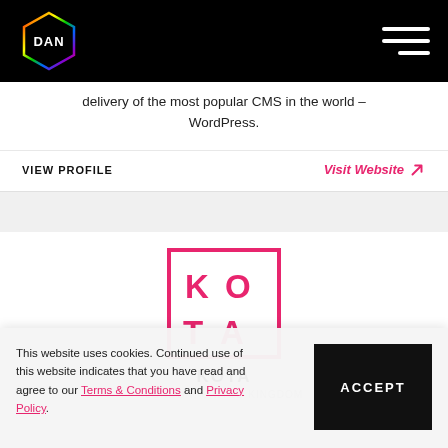DAN
delivery of the most popular CMS in the world – WordPress.
VIEW PROFILE   Visit Website ↗
[Figure (logo): KOTA logo – pink square border with KO TA text inside]
KOTA
This website uses cookies. Continued use of this website indicates that you have read and agree to our Terms & Conditions and Privacy Policy.